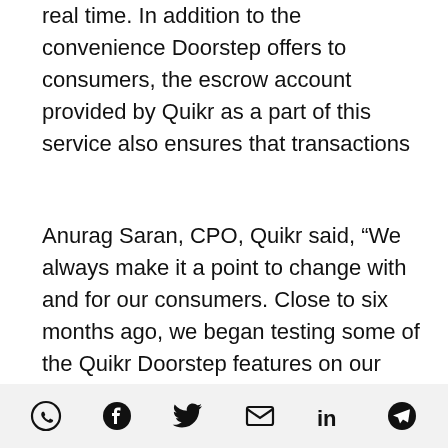real time. In addition to the convenience Doorstep offers to consumers, the escrow account provided by Quikr as a part of this service also ensures that transactions
Anurag Saran, CPO, Quikr said, “We always make it a point to change with and for our consumers. Close to six months ago, we began testing some of the Quikr Doorstep features on our platform and from that early stage to now, we’ve already rolled this service across all our product categories. With various innovations such as real-time negotiation and payments on our chat
[WhatsApp] [Facebook] [Twitter] [Email] [LinkedIn] [Telegram]